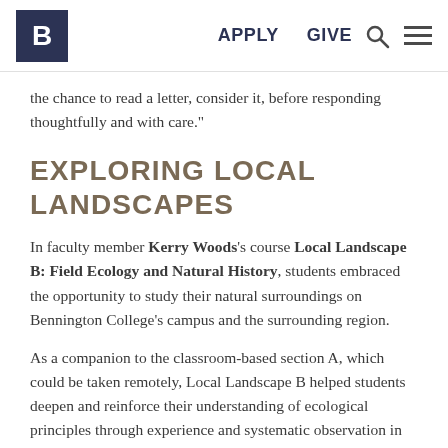B | APPLY  GIVE
the chance to read a letter, consider it, before responding thoughtfully and with care."
EXPLORING LOCAL LANDSCAPES
In faculty member Kerry Woods's course Local Landscape B: Field Ecology and Natural History, students embraced the opportunity to study their natural surroundings on Bennington College's campus and the surrounding region.
As a companion to the classroom-based section A, which could be taken remotely, Local Landscape B helped students deepen and reinforce their understanding of ecological principles through experience and systematic observation in the field. Students developed their observational and intellectual tools, all of which are critical to becoming a serious "field naturalist."
The course also gave students the opportunity to gain a hands-